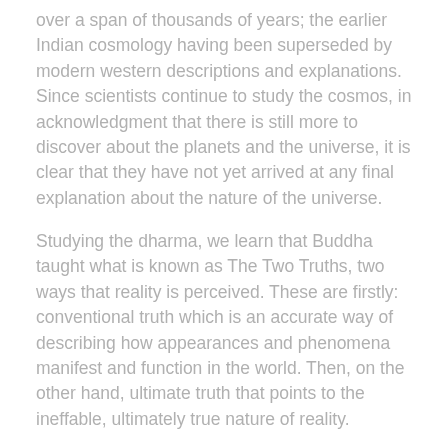over a span of thousands of years; the earlier Indian cosmology having been superseded by modern western descriptions and explanations. Since scientists continue to study the cosmos, in acknowledgment that there is still more to discover about the planets and the universe, it is clear that they have not yet arrived at any final explanation about the nature of the universe.
Studying the dharma, we learn that Buddha taught what is known as The Two Truths, two ways that reality is perceived. These are firstly: conventional truth which is an accurate way of describing how appearances and phenomena manifest and function in the world. Then, on the other hand, ultimate truth that points to the ineffable, ultimately true nature of reality.
There is no statement that can be made using conventional language that provides access to ultimate truth or that is able to define it. Therefore, in the context of the ultimate nature of reality, every single statement